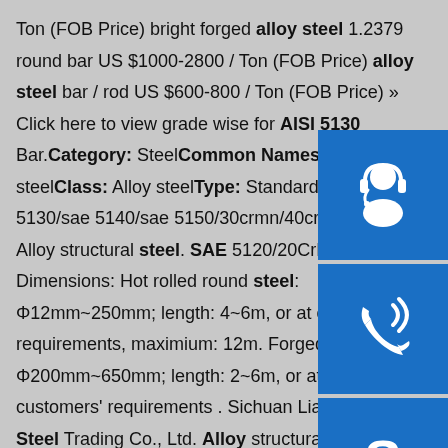Ton (FOB Price) bright forged alloy steel 1.2379 round bar US $1000-2800 / Ton (FOB Price) alloy steel bar / rod US $600-800 / Ton (FOB Price) » Click here to view grade wise for AISI 5130 Bar.Category: SteelCommon Names: Chromium steelClass: Alloy steelType: Standardsp.info 5130/sae 5140/sae 5150/30crmn/40crmn/50crmn Alloy structural steel. SAE 5120/20CrMn/1.7147 . Dimensions: Hot rolled round steel: Φ12mm~250mm; length: 4~6m, or at customers' requirements, maximium: 12m. Forged round steel: Φ200mm~650mm; length: 2~6m, or at the customers' requirements . Sichuan Liaofu Special Steel Trading Co., Ltd. Alloy structural steel. 1, Grade: SAE 5120/20CrMn/1.7147 . 2, ...5/5sp.info SAE-AISI 5140 (SCr440, G51400) Chromium Steel ...May 30, 2020 · SAE-AISI 5140 steel is an alloy steel formulated for primary forming into wrought products. 5140 is
[Figure (illustration): Three blue square icon buttons stacked vertically on the right side: headset/customer service icon, phone call icon, and Skype icon]